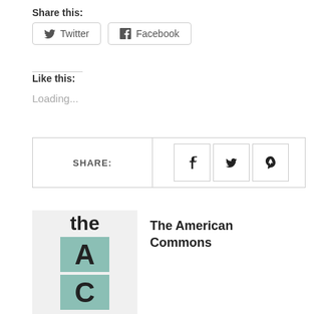Share this:
Twitter  Facebook
Like this:
Loading...
[Figure (other): Share bar with SHARE: label and social icon buttons for Facebook, Twitter, and Pinterest]
[Figure (logo): The American Commons logo: 'the' text above teal blocks containing letters A and C]
The American Commons